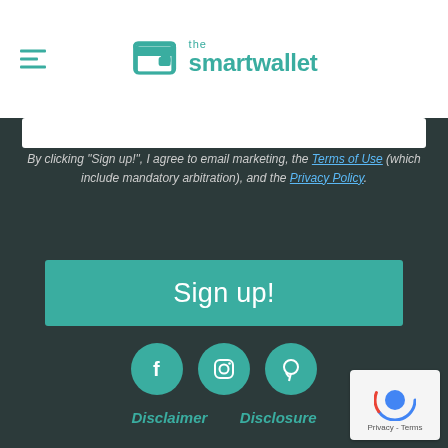[Figure (logo): The Smart Wallet logo with teal wallet icon and teal text]
By clicking "Sign up!", I agree to email marketing, the Terms of Use (which include mandatory arbitration), and the Privacy Policy.
Sign up!
[Figure (illustration): Three teal circular social media icons: Facebook, Instagram, Pinterest]
Disclaimer   Disclosure
Privacy Policy
Terms of Use
About us   Contact Us
Partnerships